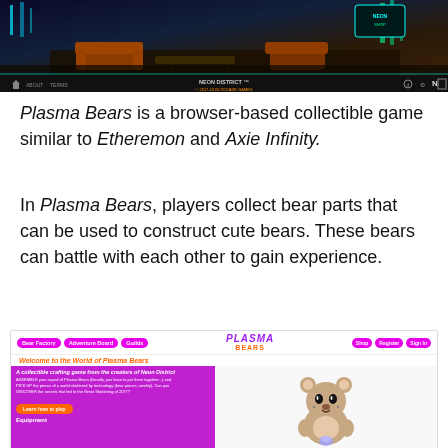[Figure (screenshot): Screenshot of Neon District browser game showing a dark cyberpunk room scene with neon lighting, furniture, and a navigation bar at the bottom with 'NEON DISTRICT' branding and Blockade Games copyright.]
Plasma Bears is a browser-based collectible game similar to Etheremon and Axie Infinity.
In Plasma Bears, players collect bear parts that can be used to construct cute bears. These bears can battle with each other to gain experience.
[Figure (screenshot): Screenshot of the Plasma Bears website showing navigation with Bear Factory, Adventure Board, Guilds, Shop, Register, Sign In buttons, the Plasma Bears logo, welcome text 'Welcome to the World of Plasma Bears', a purple info section describing the collectible crafting game, a Learn how to play button, and a cartoon bear character illustration.]